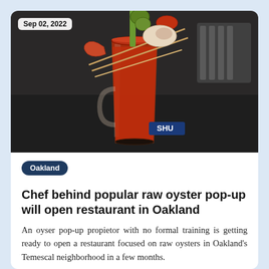[Figure (photo): A Bloody Mary cocktail in a glass mug with a spicy rim, garnished with olives, celery, bamboo skewers with seafood and crab salad, and a lobster claw. Date badge 'Sep 02, 2022' in upper left corner.]
Oakland
Chef behind popular raw oyster pop-up will open restaurant in Oakland
An oyser pop-up propietor with no formal training is getting ready to open a restaurant focused on raw oysters in Oakland's Temescal neighborhood in a few months.